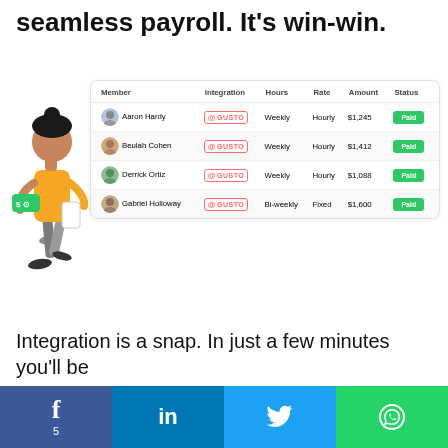seamless payroll. It's win-win.
[Figure (illustration): Illustration of a woman holding a phone with a green dollar badge, standing next to a payroll integration table UI showing four team members (Aaron Hardy, Beulah Cohen, Derrick Ortiz, Gabriel Holloway) with Gusto integration, hours, rate, amount, and Paid status buttons.]
| Member | Integration | Hours | Rate | Amount | Status |
| --- | --- | --- | --- | --- | --- |
| Aaron Hardy | GUSTO | Weekly | Hourly | $1,245 | Paid |
| Beulah Cohen | GUSTO | Weekly | Hourly | $1,412 | Paid |
| Derrick Ortiz | GUSTO | Weekly | Hourly | $1,088 | Paid |
| Gabriel Holloway | GUSTO | Bi-weekly | Fixed | $1,600 | Paid |
Integration is a snap. In just a few minutes you'll be
Facebook 5 | LinkedIn | Twitter | WhatsApp